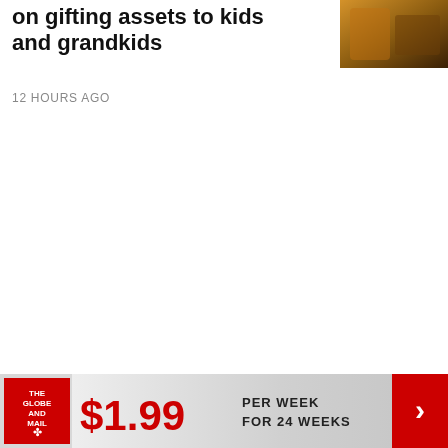on gifting assets to kids and grandkids
[Figure (photo): Thumbnail image of a person or scene related to gifting assets, shown in warm brown/amber tones]
12 HOURS AGO
[Figure (infographic): The Globe and Mail subscription advertisement banner: $1.99 PER WEEK FOR 24 WEEKS with red arrow chevron]